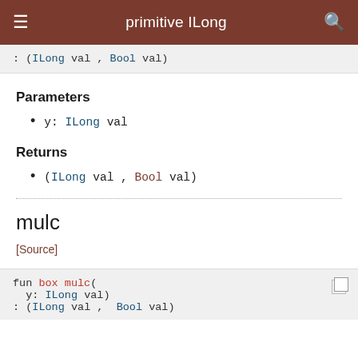primitive ILong
: (ILong val , Bool val)
Parameters
y: ILong val
Returns
(ILong val , Bool val)
mulc
[Source]
fun box mulc(
  y: ILong val)
: (ILong val , Bool val)